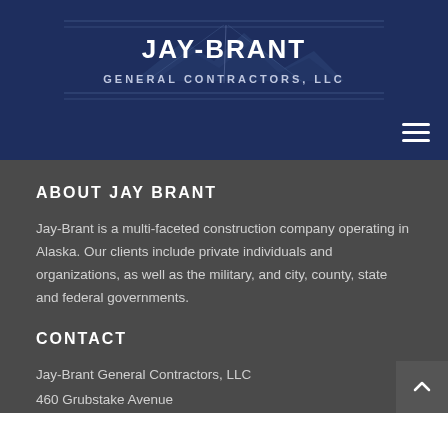[Figure (logo): Jay-Brant General Contractors, LLC logo with mountain/landscape silhouette and horizontal lines on dark navy background]
ABOUT JAY BRANT
Jay-Brant is a multi-faceted construction company operating in Alaska. Our clients include private individuals and organizations, as well as the military, and city, county, state and federal governments.
CONTACT
Jay-Brant General Contractors, LLC
460 Grubstake Avenue